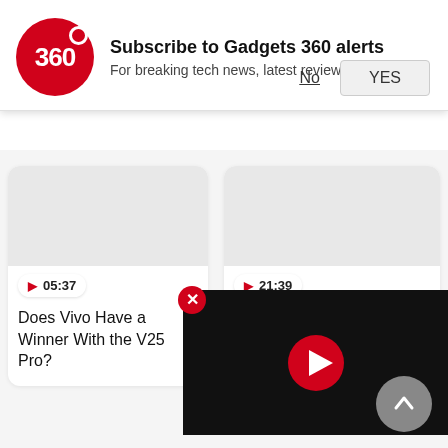[Figure (screenshot): Gadgets 360 notification subscription banner with red circular logo showing '360', bold title 'Subscribe to Gadgets 360 alerts', subtitle 'For breaking tech news, latest reviews, and more', and two buttons: 'No' (underlined) and 'YES' (button)]
[Figure (screenshot): Video card thumbnail (grey) with play badge showing 05:37]
Does Vivo Have a Winner With the V25 Pro?
[Figure (screenshot): Video card thumbnail (grey) with play badge showing 21:39]
Best Camera Phone Under Rs. 40,000 and Intervi
Tech News in Hindi »
13499 में मिल रहा 64MP कैमरा और 5000mAh बैटरी वाला Redmi Note 11SE खरीदें
[Figure (screenshot): Video player popup overlay showing a dark background with a red circular play button in the center]
[Figure (other): Red circular close button with X]